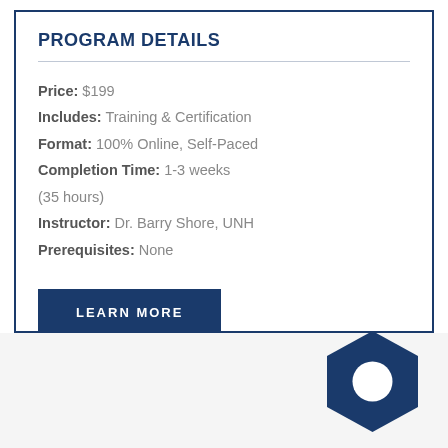PROGRAM DETAILS
Price: $199
Includes: Training & Certification
Format: 100% Online, Self-Paced
Completion Time: 1-3 weeks (35 hours)
Instructor: Dr. Barry Shore, UNH
Prerequisites: None
LEARN MORE
[Figure (logo): Dark blue hexagon shape with a white circle in the center, positioned in bottom-right corner]